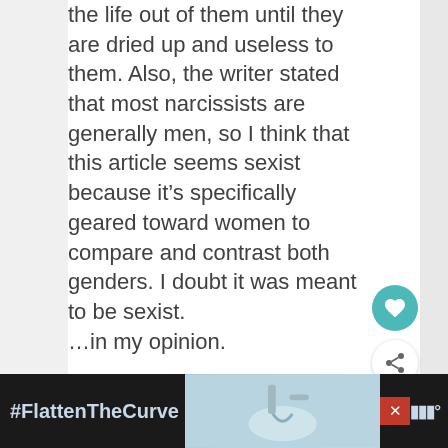the life out of them until they are dried up and useless to them. Also, the writer stated that most narcissists are generally men, so I think that this article seems sexist because it's specifically geared toward women to compare and contrast both genders. I doubt it was meant to be sexist. …in my opinion.
Reply
[Figure (infographic): WHAT'S NEXT arrow with circular thumbnail image and text '31 Signs He Wants to Ma...']
[Figure (infographic): Advertisement banner at bottom: '#FlattenTheCurve' with image of hands washing and logo]